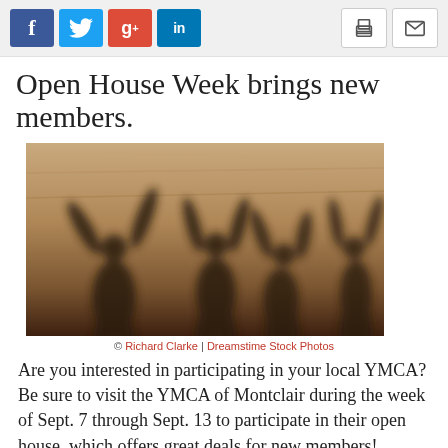Social share buttons: Facebook, Twitter, Google+, LinkedIn; Utility buttons: Print, Email
Open House Week brings new members.
[Figure (photo): Silhouettes of people with arms raised, cast as shadows on a stone/rock wall]
© Richard Clarke | Dreamstime Stock Photos
Are you interested in participating in your local YMCA? Be sure to visit the YMCA of Montclair during the week of Sept. 7 through Sept. 13 to participate in their open house, which offers great deals for new members!